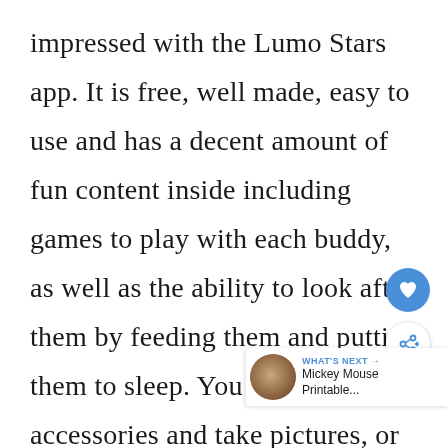impressed with the Lumo Stars app. It is free, well made, easy to use and has a decent amount of fun content inside including games to play with each buddy, as well as the ability to look after them by feeding them and putting them to sleep. You can also add accessories and take pictures, or change their backgrounds, all of which my kids
[Figure (other): Blue circular heart/favorite button overlay and white circular share button overlay on the right side of the page]
[Figure (other): What's Next widget in bottom right corner showing a thumbnail image and text 'WHAT'S NEXT → Mickey Mouse Printable...']